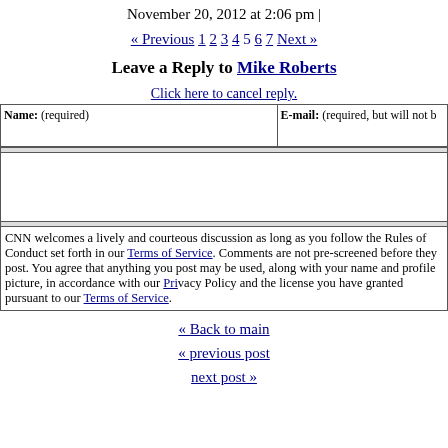November 20, 2012 at 2:06 pm |
« Previous 1 2 3 4 5 6 7 Next »
Leave a Reply to Mike Roberts
Click here to cancel reply.
Name: (required)   E-mail: (required, but will not be published)
CNN welcomes a lively and courteous discussion as long as you follow the Rules of Conduct set forth in our Terms of Service. Comments are not pre-screened before they post. You agree that anything you post may be used, along with your name and profile picture, in accordance with our Privacy Policy and the license you have granted pursuant to our Terms of Service.
« Back to main
« previous post
next post »